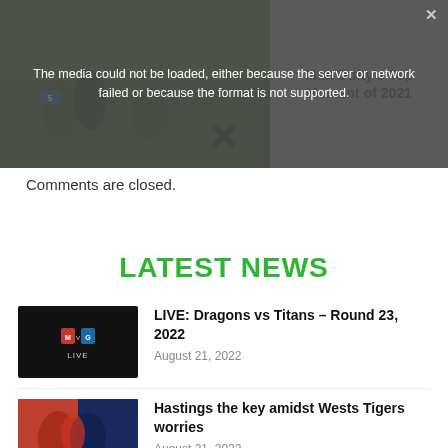[Figure (screenshot): Video player showing rugby/NRL footage with media error overlay. Title visible: 'Matt Dufty's Top Moment of 2021'. Error message: 'The media could not be loaded, either because the server or network failed or because the format is not supported.']
Comments are closed.
LATEST NEWS
[Figure (screenshot): Thumbnail for Dragons vs Titans live match, dark background with team logos and LIVE text]
LIVE: Dragons vs Titans – Round 23, 2022
August 21, 2022
[Figure (photo): Rugby players in action, red/blue jerseys, tackle scene]
Hastings the key amidst Wests Tigers worries
August 21, 2022